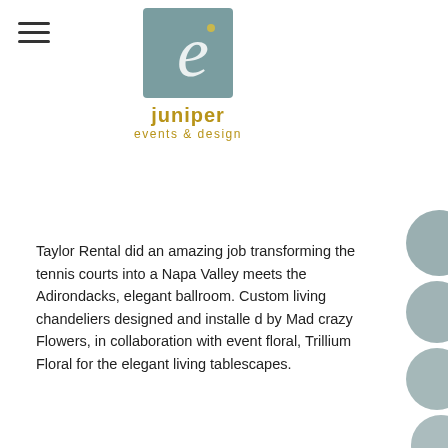[Figure (logo): Juniper Events & Design logo: teal square with stylized cursive 'e' letter mark, with 'juniper' in gold/olive and 'events & design' in gold/olive below]
Taylor Rental did an amazing job transforming the tennis courts into a Napa Valley meets the Adirondacks, elegant ballroom. Custom living chandeliers designed and installed by Mad crazy Flowers, in collaboration with event floral, Trillium Floral for the elegant living tablescapes.
[Figure (photo): Close-up photo of a decorative loon bird figurine surrounded by green cattail plants with brown cattail tops, set against a dark blurred background.]